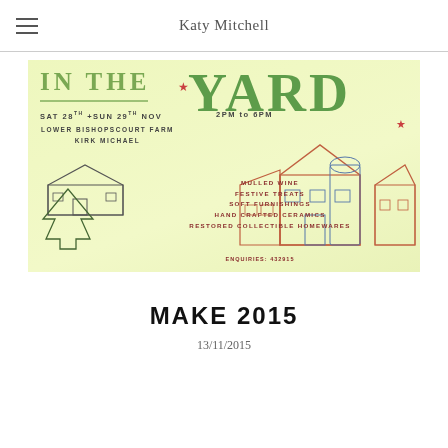Katy Mitchell
[Figure (illustration): Event poster illustration for 'In The Yard' craft market. Light yellow-green background with hand-drawn buildings (barn and farm structures in coral/blue), a Christmas tree sketch, decorative stars. Large green watercolor-style text reading 'IN THE YARD'. Text details: SAT 28TH + SUN 29TH NOV, 2PM TO 6PM, LOWER BISHOPSCOURT FARM, KIRK MICHAEL, MULLED WINE, FESTIVE TREATS, SOFT FURNISHINGS, HAND CRAFTED CERAMICS, RESTORED COLLECTIBLE HOMEWARES, ENQUIRIES: 432915.]
MAKE 2015
13/11/2015